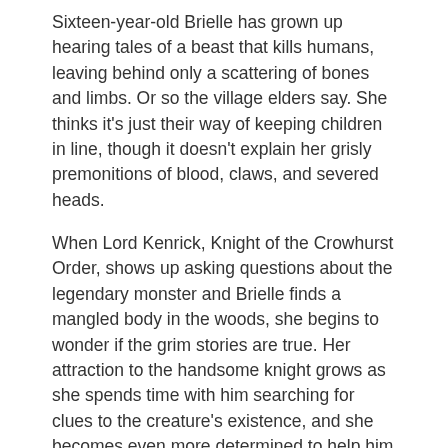Sixteen-year-old Brielle has grown up hearing tales of a beast that kills humans, leaving behind only a scattering of bones and limbs. Or so the village elders say. She thinks it's just their way of keeping children in line, though it doesn't explain her grisly premonitions of blood, claws, and severed heads.
When Lord Kenrick, Knight of the Crowhurst Order, shows up asking questions about the legendary monster and Brielle finds a mangled body in the woods, she begins to wonder if the grim stories are true. Her attraction to the handsome knight grows as she spends time with him searching for clues to the creature's existence, and she becomes even more determined to help him discover the beast's location.